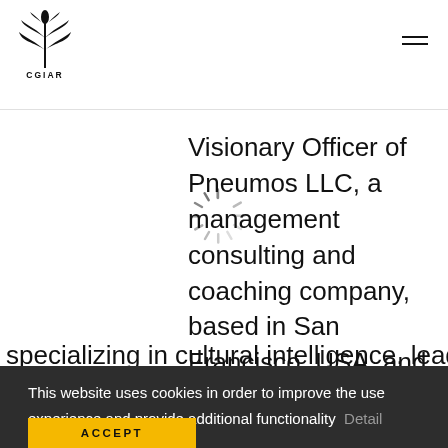CGIAR
[Figure (logo): CGIAR logo with wheat/plant icon and text CGIAR below]
[Figure (other): Loading spinner / circular rays icon]
Visionary Officer of Pneumos LLC, a management consulting and coaching company, based in San Francisco, USA, and specializing in cultural intelligence, leadership,
This website uses cookies in order to improve the use experience and provide additional functionality  Detail
ACCEPT